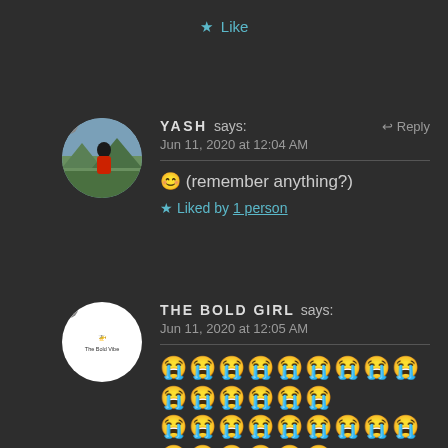★ Like
YASH says: Jun 11, 2020 at 12:04 AM ↩ Reply
😊 (remember anything?)
★ Liked by 1 person
THE BOLD GIRL says: Jun 11, 2020 at 12:05 AM
😭😭😭😭😭😭😭😭😭😭😭😭😭😭😭😭😭😭😭😭😭😭😭😭😭😭😭😭😭😭😭😭😭😭😭😭😭😭😭😭😭😭